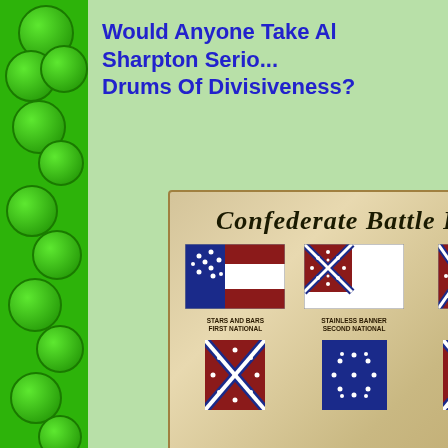Would Anyone Take Al Sharpton Seriously If He Beats Drums Of Divisiveness?
[Figure (illustration): An illustration/infographic showing Confederate Battle Flags including Stars and Bars (First National), Stainless Banner (Second National), and other Confederate flags arranged on a parchment background with the heading 'Confederate Battle Fl...' (truncated). Bottom row includes the Confederate Battle Flag and other variants.]